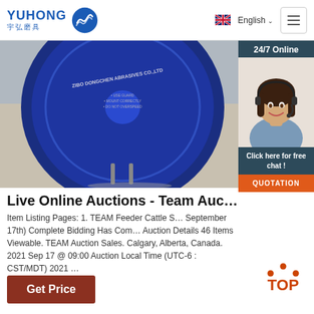YUHONG 宇弘磨具 | English | Menu
[Figure (photo): Blue abrasive grinding disc from ZIBO DONGCHEN ABRASIVES CO., LTD displayed on a stand, with customer service chat widget overlay showing a woman with headset and '24/7 Online' label, 'Click here for free chat!' and 'QUOTATION' button]
Live Online Auctions - Team Auc…
Item Listing Pages: 1. TEAM Feeder Cattle S… September 17th) Complete Bidding Has Com… Auction Details 46 Items Viewable. TEAM Auction Sales. Calgary, Alberta, Canada. 2021 Sep 17 @ 09:00 Auction Local Time (UTC-6 : CST/MDT) 2021 …
[Figure (other): TOP navigation button with orange dots forming an arc above the word TOP in orange]
Get Price